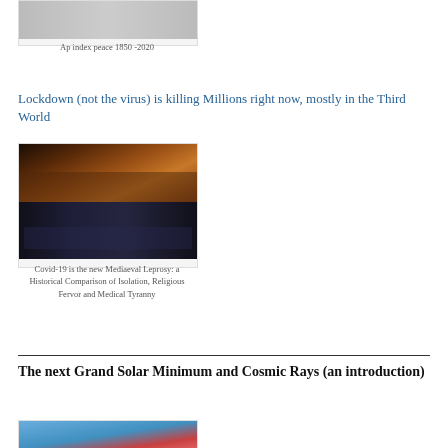[Figure (other): Small card with chart image showing Ap index peace 1850-2020]
Ap index peace 1850 -2020
Lockdown (not the virus) is killing Millions right now, mostly in the Third World
[Figure (photo): Photo showing people with torches in medieval setting above, and police in masks below]
Covid-19 is the new Mediaeval Leprosy: a Historical Comparison of Isolation, Religious Fervor and Medical Tyranny
The next Grand Solar Minimum and Cosmic Rays (an introduction)
[Figure (continuous-plot): Partial chart visible at bottom of page, appears to show solar data]